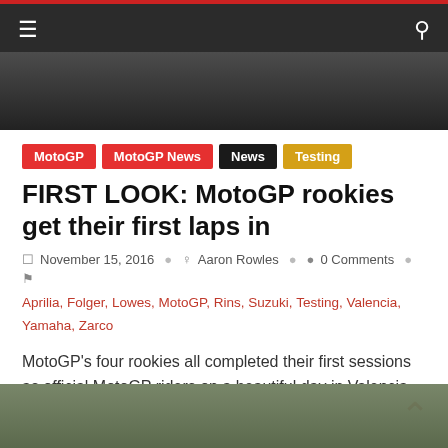Navigation bar with hamburger menu and search icon
[Figure (photo): Dark hero image of a motorcycle or racing vehicle, partially visible at the top of the article card]
MotoGP | MotoGP News | News | Testing
FIRST LOOK: MotoGP rookies get their first laps in
November 15, 2016  Aaron Rowles  0 Comments
Aprilia, Folger, Lowes, MotoGP, Rins, Suzuki, Testing, Valencia, Yamaha, Zarco
MotoGP's four rookies all completed their first sessions as official MotoGP riders on a beautiful day in Valencia. Jonas Folger ended
Read more
[Figure (photo): Partial photo at the bottom of the page showing a racing scene]